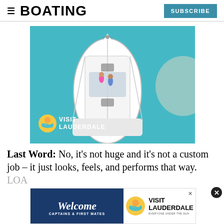BOATING | SUBSCRIBE
[Figure (photo): Aerial view of a white motorboat on teal water with two people sunbathing on the bow deck. Visit Lauderdale logo in lower left corner of image.]
Last Word: No, it's not huge and it's not a custom job – it just looks, feels, and performs that way.
LOA
[Figure (photo): Bottom advertisement bar: Welcome Captains & First Mates with Visit Lauderdale logo on blue/white background.]